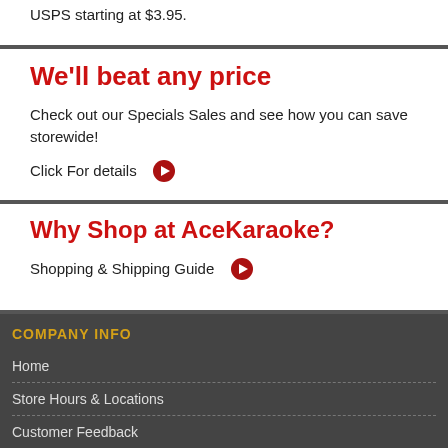USPS starting at $3.95.
We'll beat any price
Check out our Specials Sales and see how you can save storewide!
Click For details ▶
Why Shop at AceKaraoke?
Shopping & Shipping Guide ▶
COMPANY INFO
Home
Store Hours & Locations
Customer Feedback
Store Locations
About Us